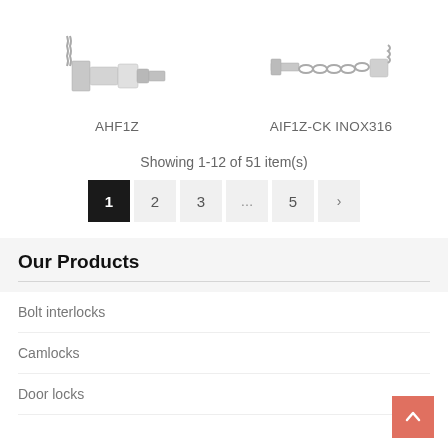[Figure (photo): Photo of AHF1Z bolt interlock product - metallic spring bolt mechanism]
AHF1Z
[Figure (photo): Photo of AIF1Z-CK INOX316 product - metallic chain door lock]
AIF1Z-CK INOX316
Showing 1-12 of 51 item(s)
Pagination: 1 2 3 ... 5 >
Our Products
Bolt interlocks
Camlocks
Door locks